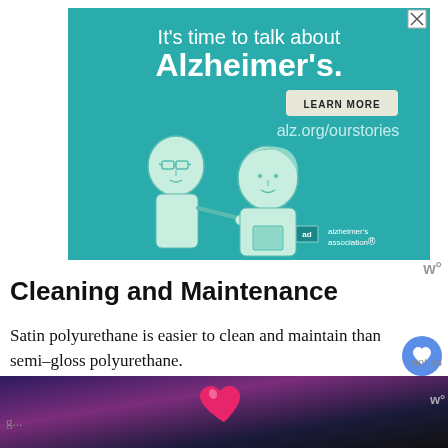[Figure (illustration): Alzheimer's Association advertisement banner with teal background. Text reads: "It's time to talk about Alzheimer's." with a LEARN MORE button and alz.org/ourstories URL. Illustration of two people, one older with glasses and one younger, and the Alzheimer's Association logo.]
Cleaning and Maintenance
Satin polyurethane is easier to clean and maintain than semi-gloss polyurethane. This is because satin has a lower sheen, not as g...
[Figure (illustration): Bottom UI bar with heart icon on purple/dark gradient background, partial view of webpage controls]